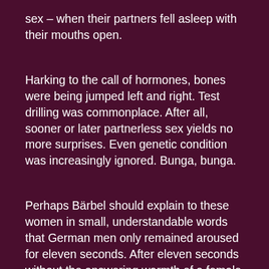sex – when their partners fell asleep with their mouths open.
Harking to the call of hormones, bones were being jumped left and right. Test drilling was commonplace. After all, sooner or later partnerless sex yields no more surprises. Even genetic condition was increasingly ignored. Bunga, bunga.
Perhaps Bärbel should explain to these women in small, understandable words that German men only remained aroused for eleven seconds. After eleven seconds without the answering warmth of a female body, his erection collapses like a soufflé removed from the oven too soon.